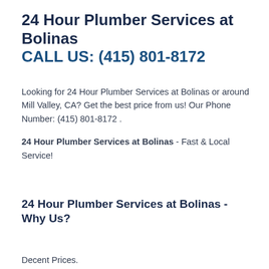24 Hour Plumber Services at Bolinas
CALL US: (415) 801-8172
Looking for 24 Hour Plumber Services at Bolinas or around Mill Valley, CA? Get the best price from us! Our Phone Number: (415) 801-8172 .
24 Hour Plumber Services at Bolinas - Fast & Local Service!
24 Hour Plumber Services at Bolinas - Why Us?
Decent Prices.